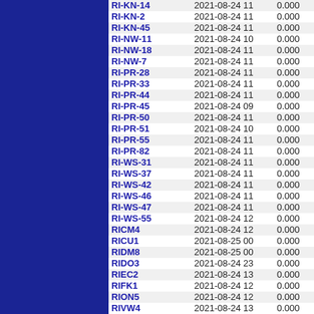| ID | Date | Value | Num |
| --- | --- | --- | --- |
| RI-KN-14 | 2021-08-24 11 | 0.000 | 54 |
| RI-KN-2 | 2021-08-24 11 | 0.000 | 3 |
| RI-KN-45 | 2021-08-24 11 | 0.000 | 10 |
| RI-NW-11 | 2021-08-24 10 | 0.000 | 12 |
| RI-NW-18 | 2021-08-24 11 | 0.000 | 7 |
| RI-NW-7 | 2021-08-24 11 | 0.000 | 7 |
| RI-PR-28 | 2021-08-24 11 | 0.000 | 26 |
| RI-PR-33 | 2021-08-24 11 | 0.000 | 33 |
| RI-PR-44 | 2021-08-24 11 | 0.000 | 5 |
| RI-PR-45 | 2021-08-24 09 | 0.000 | 29 |
| RI-PR-50 | 2021-08-24 11 | 0.000 | 48 |
| RI-PR-51 | 2021-08-24 10 | 0.000 | 26 |
| RI-PR-55 | 2021-08-24 11 | 0.000 | 31 |
| RI-PR-82 | 2021-08-24 11 | 0.000 | 17 |
| RI-WS-31 | 2021-08-24 11 | 0.000 | 11 |
| RI-WS-37 | 2021-08-24 11 | 0.000 | 19 |
| RI-WS-42 | 2021-08-24 11 | 0.000 | 38 |
| RI-WS-46 | 2021-08-24 11 | 0.000 | 18 |
| RI-WS-47 | 2021-08-24 11 | 0.000 | 13 |
| RI-WS-55 | 2021-08-24 12 | 0.000 | 11 |
| RICM4 | 2021-08-24 12 | 0.000 | 76 |
| RICU1 | 2021-08-25 00 | 0.000 | 470 |
| RIDM8 | 2021-08-25 00 | 0.000 | 328 |
| RIDO3 | 2021-08-24 23 | 0.000 | 66 |
| RIEC2 | 2021-08-24 13 | 0.000 | 544 |
| RIFK1 | 2021-08-24 12 | 0.000 | 340 |
| RION5 | 2021-08-24 12 | 0.000 | 520 |
| RIVW4 | 2021-08-24 13 | 0.000 | 495 |